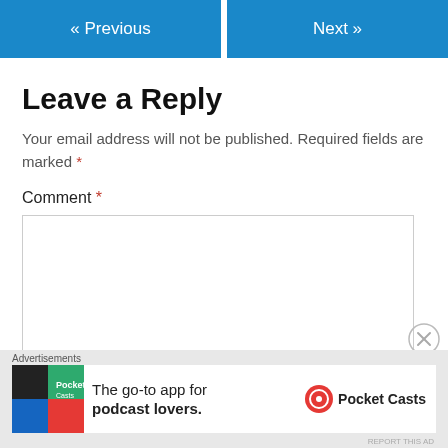« Previous    Next »
Leave a Reply
Your email address will not be published. Required fields are marked *
Comment *
[Figure (screenshot): Empty comment text area input box]
[Figure (screenshot): Close/dismiss button (circled X)]
Advertisements
[Figure (illustration): Pocket Casts advertisement: The go-to app for podcast lovers.]